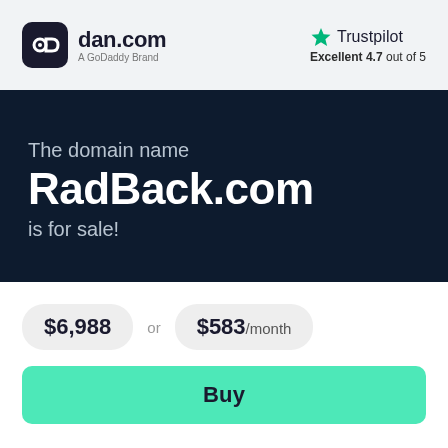[Figure (logo): dan.com logo — rounded square dark icon with 'd' letter and 'dan.com A GoDaddy Brand' text]
[Figure (logo): Trustpilot logo with green star and 'Excellent 4.7 out of 5' rating]
The domain name RadBack.com is for sale!
$6,988 or $583/month
Buy